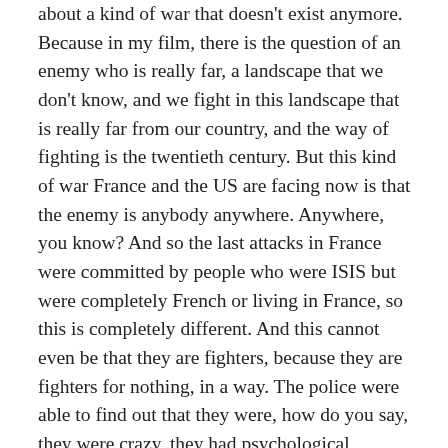about a kind of war that doesn't exist anymore. Because in my film, there is the question of an enemy who is really far, a landscape that we don't know, and we fight in this landscape that is really far from our country, and the way of fighting is the twentieth century. But this kind of war France and the US are facing now is that the enemy is anybody anywhere. Anywhere, you know? And so the last attacks in France were committed by people who were ISIS but were completely French or living in France, so this is completely different. And this cannot even be that they are fighters, because they are fighters for nothing, in a way. The police were able to find out that they were, how do you say, they were crazy, they had psychological problems. So it's like a war with madness of people from the inside, you know? Not really players from a far out area. It's not a war in a really far country with foreign fighters in the mountains, you know. It's here, on our ground, and from people who could be our neighbors or living in the